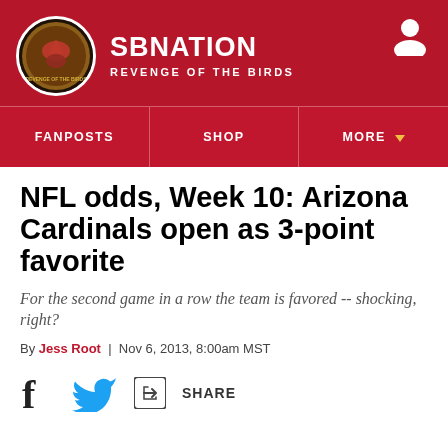SB NATION | REVENGE OF THE BIRDS
NFL odds, Week 10: Arizona Cardinals open as 3-point favorite
For the second game in a row the team is favored -- shocking, right?
By Jess Root | Nov 6, 2013, 8:00am MST
[Figure (other): Social share bar with Facebook, Twitter, and Share icons]